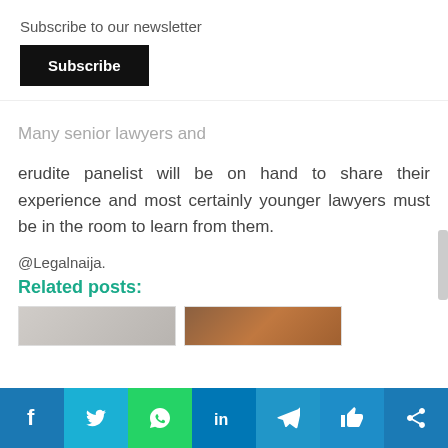Subscribe to our newsletter
Subscribe
Many senior lawyers and erudite panelist will be on hand to share their experience and most certainly younger lawyers must be in the room to learn from them.
@Legalnaija.
Related posts: